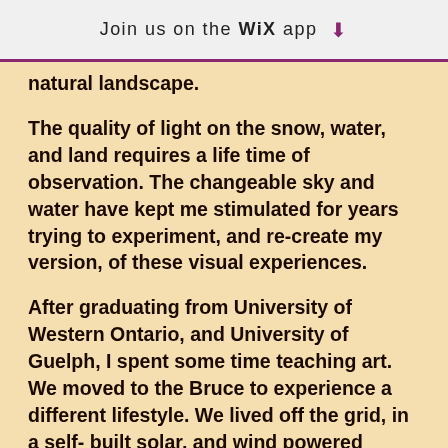Join us on the WiX app ↓
natural landscape.
The quality of light on the snow, water, and land requires a life time of observation. The changeable sky and water have kept me stimulated for years trying to experiment, and re-create my version, of these visual experiences.
After graduating from University of Western Ontario, and University of Guelph, I spent some time teaching art. We moved to the Bruce to experience a different lifestyle. We lived off the grid, in a self- built solar, and wind powered home. Hiking into the property during the winter brought many encounters with nature. Being able to observe  the seasonal changes up close was very